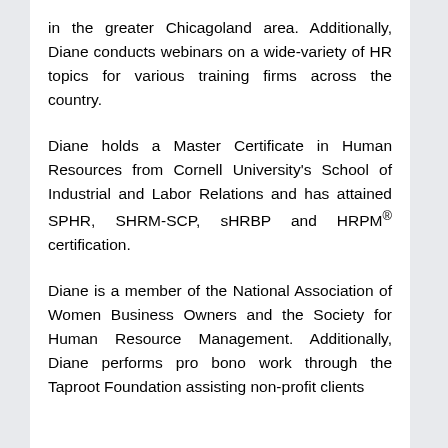in the greater Chicagoland area. Additionally, Diane conducts webinars on a wide-variety of HR topics for various training firms across the country.
Diane holds a Master Certificate in Human Resources from Cornell University's School of Industrial and Labor Relations and has attained SPHR, SHRM-SCP, sHRBP and HRPM® certification.
Diane is a member of the National Association of Women Business Owners and the Society for Human Resource Management. Additionally, Diane performs pro bono work through the Taproot Foundation assisting non-profit clients